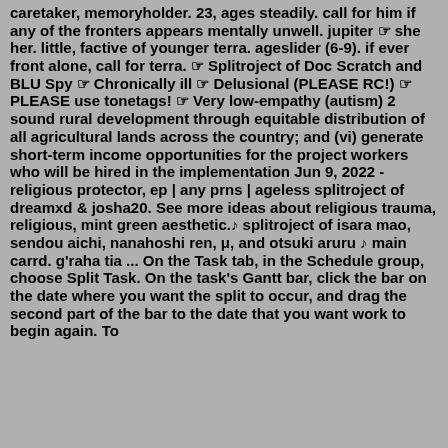caretaker, memoryholder. 23, ages steadily. call for him if any of the fronters appears mentally unwell. jupiter ☞ she her. little, factive of younger terra. ageslider (6-9). if ever front alone, call for terra. ☞ Splitroject of Doc Scratch and BLU Spy ☞ Chronically ill ☞ Delusional (PLEASE RC!) ☞ PLEASE use tonetags! ☞ Very low-empathy (autism) 2 sound rural development through equitable distribution of all agricultural lands across the country; and (vi) generate short-term income opportunities for the project workers who will be hired in the implementation Jun 9, 2022 - religious protector, ep | any prns | ageless splitroject of dreamxd & josha20. See more ideas about religious trauma, religious, mint green aesthetic.♪ splitroject of isara mao, sendou aichi, nanahoshi ren, μ, and otsuki aruru ♪ main carrd. g'raha tia ... On the Task tab, in the Schedule group, choose Split Task. On the task's Gantt bar, click the bar on the date where you want the split to occur, and drag the second part of the bar to the date that you want work to begin again. To